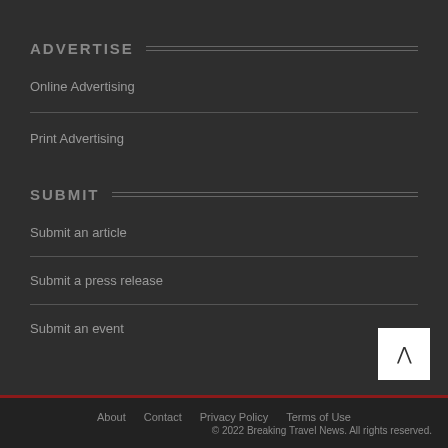ADVERTISE
Online Advertising
Print Advertising
SUBMIT
Submit an article
Submit a press release
Submit an event
About  Contact  Privacy Policy  Terms of Use
© 2022 Breaking Travel News. All rights reserved.